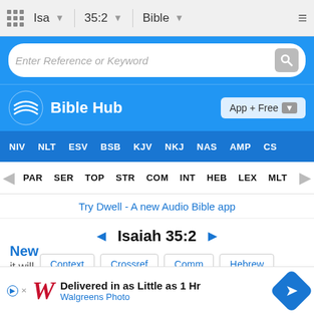Isa  35:2  Bible
Enter Reference or Keyword
Bible Hub
App + Free
NIV  NLT  ESV  BSB  KJV  NKJ  NAS  AMP  CS
PAR  SER  TOP  STR  COM  INT  HEB  LEX  MLT
Try Dwell - A new Audio Bible app
◄ Isaiah 35:2 ►
Context  Crossref  Comm  Hebrew
Verse (Click for Chapter)
New
it will
Delivered in as Little as 1 Hr
Walgreens Photo